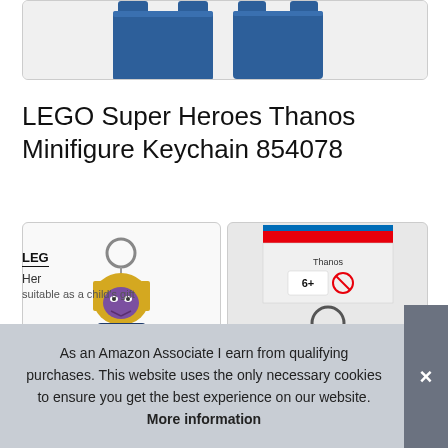[Figure (photo): Top portion of a LEGO product photo showing blue LEGO brick/cube pieces]
LEGO Super Heroes Thanos Minifigure Keychain 854078
[Figure (photo): LEGO Super Heroes Thanos Minifigure Keychain product photo showing the Thanos character minifigure attached to a keyring]
[Figure (photo): LEGO Super Heroes Thanos Minifigure Keychain product packaging showing age 6+ label and the keychain from a distance]
LEG
Her
suitable as a child's gift
As an Amazon Associate I earn from qualifying purchases. This website uses the only necessary cookies to ensure you get the best experience on our website. More information